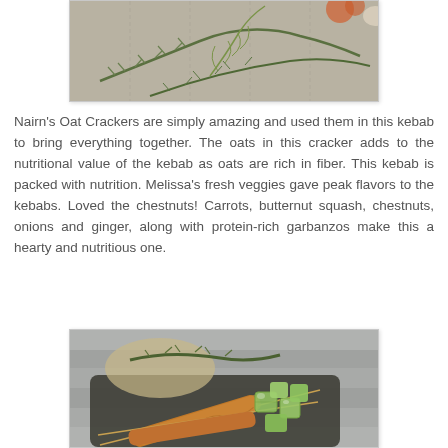[Figure (photo): Photo of fresh herbs including rosemary and dill on a textured cloth background, with the watermark text 'Magical Ingredients' overlaid.]
Nairn's Oat Crackers are simply amazing and used them in this kebab to bring everything together. The oats in this cracker adds to the nutritional value of the kebab as oats are rich in fiber. This kebab is packed with nutrition. Melissa's fresh veggies gave peak flavors to the kebabs. Loved the chestnuts! Carrots, butternut squash, chestnuts, onions and ginger, along with protein-rich garbanzos make this a hearty and nutritious one.
[Figure (photo): Photo of kebabs on skewers served on a dark plate with chopped cucumber pieces, with fresh rosemary sprigs and a rustic round cracker in the background.]